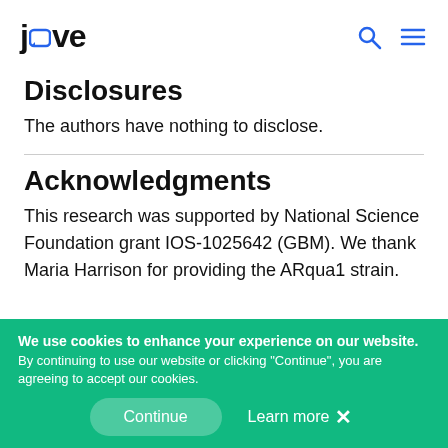jove
Disclosures
The authors have nothing to disclose.
Acknowledgments
This research was supported by National Science Foundation grant IOS-1025642 (GBM). We thank Maria Harrison for providing the ARqua1 strain.
We use cookies to enhance your experience on our website. By continuing to use our website or clicking "Continue", you are agreeing to accept our cookies.